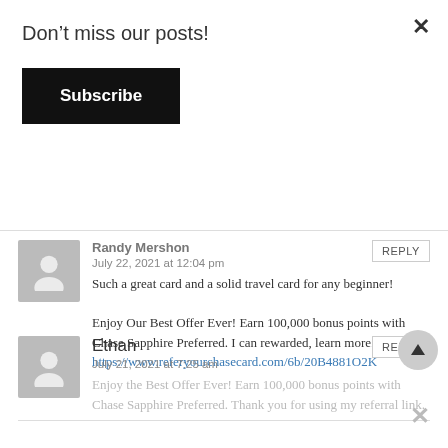Don't miss our posts!
Subscribe
×
Randy Mershon
July 22, 2021 at 12:04 pm
REPLY
Such a great card and a solid travel card for any beginner!

Enjoy Our Best Offer Ever! Earn 100,000 bonus points with Chase Sapphire Preferred. I can rewarded, learn more. https://www.referyourchasecard.com/6b/20B4881O2K
Ethan
July 21, 2021 at 7:25 am
REPLY
Enjoy the Best Offer Ever! Earn 100,000 bonus points with Chase Sapphire Preferred. Thank you for using my referral link.
×